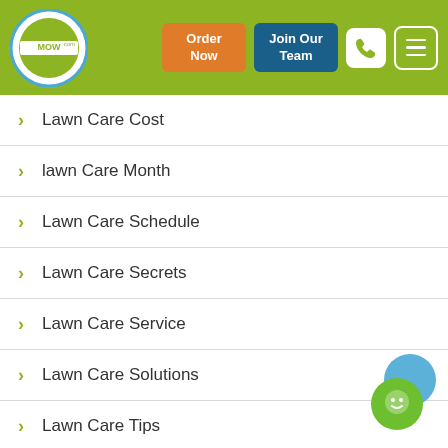[Figure (screenshot): GoMow.com website header with logo, Order Now button, Join Our Team button, phone button, and menu button on olive/green background]
Lawn Care Cost
lawn Care Month
Lawn Care Schedule
Lawn Care Secrets
Lawn Care Service
Lawn Care Solutions
Lawn Care Tips
Lawn Cutting